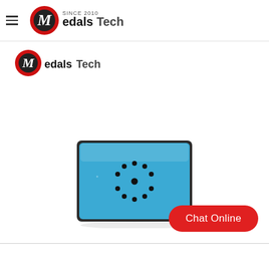Medals Tech - Since 2010
[Figure (logo): Medals Tech logo with red circle M icon and 'SINCE 2010' text above, 'Medals Tech' text beside]
[Figure (logo): Medals Tech secondary logo with red circle M icon and 'Medals Tech' text]
[Figure (photo): A blue rectangular pin badge with a circle of black dots around a central black dot, resembling a sound chip or EU flag pin. The badge has a dark metal border.]
Chat Online